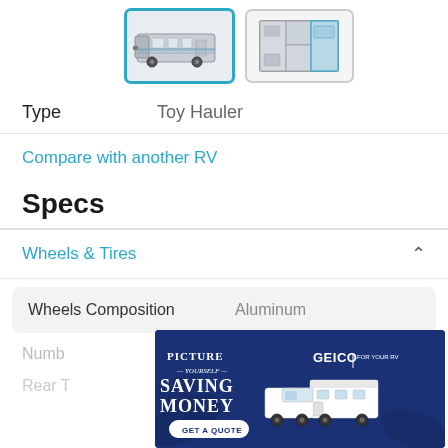[Figure (photo): Two thumbnail images of an RV: left thumbnail shows the exterior of a toy hauler RV (selected, with blue border), right thumbnail shows the floor plan layout of the same RV]
Type    Toy Hauler
Compare with another RV
Specs
Wheels & Tires
| Spec | Value |
| --- | --- |
| Wheels Composition | Aluminum |
| Numb... |  |
| Rear T... |  |
[Figure (photo): GEICO advertisement banner with text: PICTURE YOURSELF SAVING MONEY, GEICO FOR YOUR RV, GET A QUOTE. Shows illustration of truck towing RV trailer on dark blue background.]